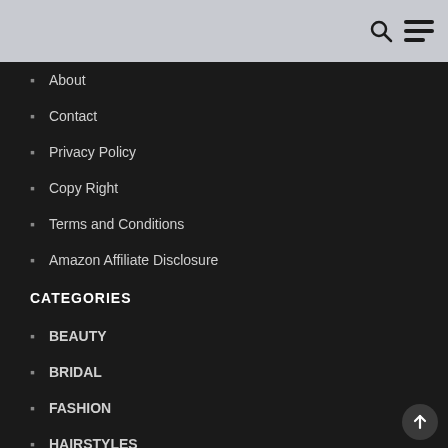About
Contact
Privacy Policy
Copy Right
Terms and Conditions
Amazon Affiliate Disclosure
CATEGORIES
BEAUTY
BRIDAL
FASHION
HAIRSTYLES